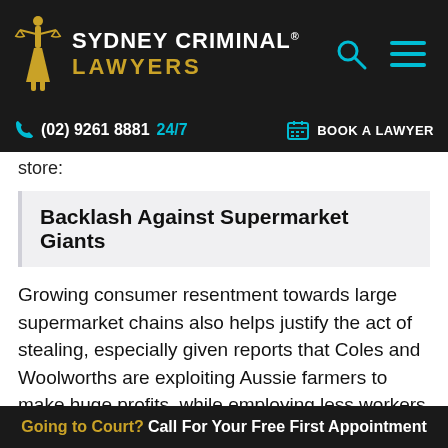SYDNEY CRIMINAL® LAWYERS
(02) 9261 8881 24/7  BOOK A LAWYER
store:
Backlash Against Supermarket Giants
Growing consumer resentment towards large supermarket chains also helps justify the act of stealing, especially given reports that Coles and Woolworths are exploiting Aussie farmers to make huge profits, while employing less workers and skimping on penalty rates.
Consistently declining also showed the motivation of
Going to Court? Call For Your Free First Appointment